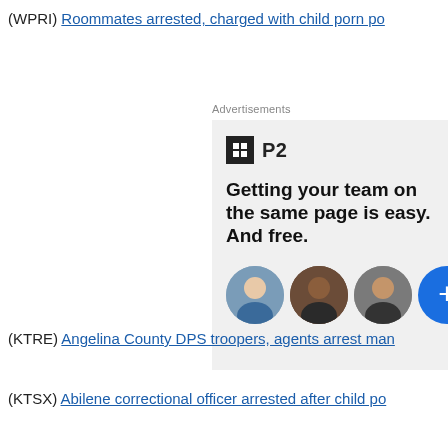(WPRI) Roommates arrested, charged with child porn po…
Advertisements
[Figure (screenshot): Advertisement for P2 product showing logo with grid icon and text 'Getting your team on the same page is easy. And free.' with three circular avatar photos and a blue plus button.]
(KTRE) Angelina County DPS troopers, agents arrest man…
(KTSX) Abilene correctional officer arrested after child po…